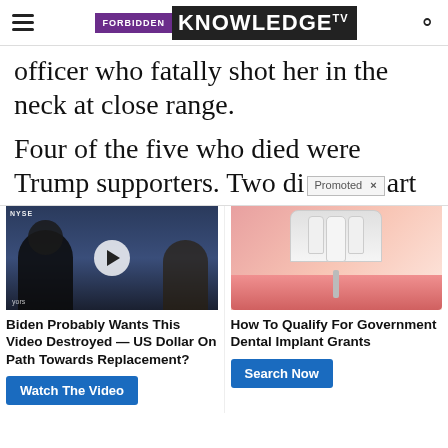FORBIDDEN KNOWLEDGE TV
officer who fatally shot her in the neck at close range.
Four of the five who died were Trump supporters. Two die [Promoted ×] art
[Figure (screenshot): Promoted ad: Biden Probably Wants This Video Destroyed — US Dollar On Path Towards Replacement? with Watch The Video button and video thumbnail]
[Figure (screenshot): Promoted ad: How To Qualify For Government Dental Implant Grants with Search Now button and dental implant illustration]